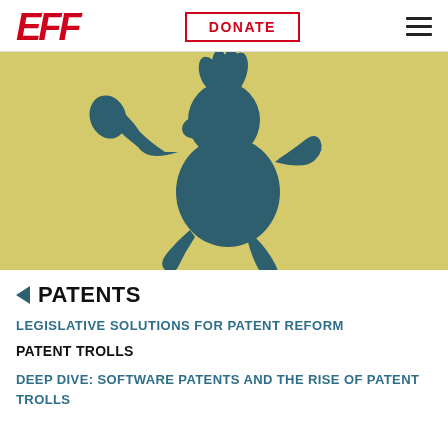[Figure (logo): EFF logo in red bold italic text]
[Figure (other): DONATE button with red border and red text]
[Figure (illustration): EFF patent troll illustration: dark teal troll monster silhouette holding a club on a golden/yellow background]
PATENTS
LEGISLATIVE SOLUTIONS FOR PATENT REFORM
PATENT TROLLS
DEEP DIVE: SOFTWARE PATENTS AND THE RISE OF PATENT TROLLS